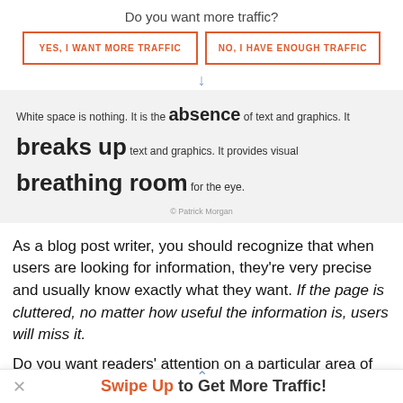Do you want more traffic?
[Figure (screenshot): Two buttons side by side with orange borders: 'YES, I WANT MORE TRAFFIC' and 'NO, I HAVE ENOUGH TRAFFIC']
[Figure (infographic): Gray box with mixed-size text: 'White space is nothing. It is the absence of text and graphics. It breaks up text and graphics. It provides visual breathing room for the eye.' with copyright '© Patrick Morgan']
As a blog post writer, you should recognize that when users are looking for information, they're very precise and usually know exactly what they want. If the page is cluttered, no matter how useful the information is, users will miss it.
Do you want readers' attention on a particular area of your
Swipe Up to Get More Traffic!